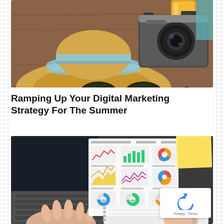[Figure (photo): Top-down photo of summer items on a wooden table: straw hat with blue stripes, sunglasses, a film camera, and a glass of orange juice]
Ramping Up Your Digital Marketing Strategy For The Summer
[Figure (photo): Overhead photo of a person working on a laptop next to a printed analytics report showing charts and graphs, with a yellow sticky note on a dark desk surface]